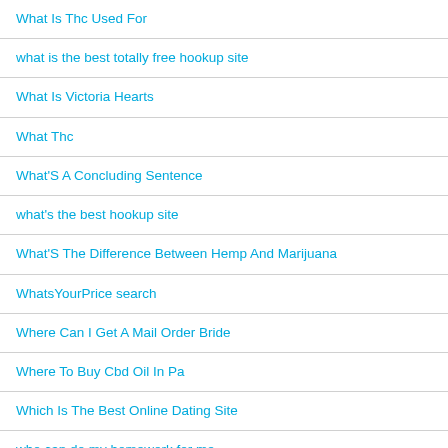What Is Thc Used For
what is the best totally free hookup site
What Is Victoria Hearts
What Thc
What'S A Concluding Sentence
what's the best hookup site
What'S The Difference Between Hemp And Marijuana
WhatsYourPrice search
Where Can I Get A Mail Order Bride
Where To Buy Cbd Oil In Pa
Which Is The Best Online Dating Site
who can do my homework for me